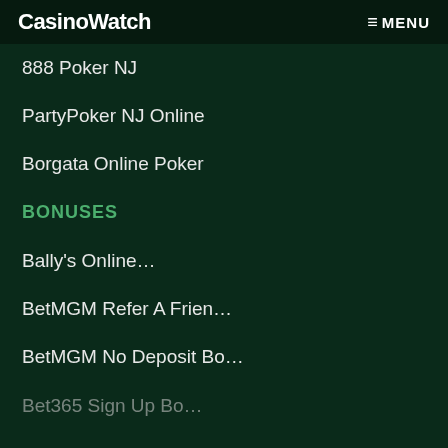CasinoWatch MENU
888 Poker NJ
PartyPoker NJ Online
Borgata Online Poker
BONUSES
Bally's Online…
BetMGM Refer A Frien…
BetMGM No Deposit Bo…
Bet365 Sign Up Bo…